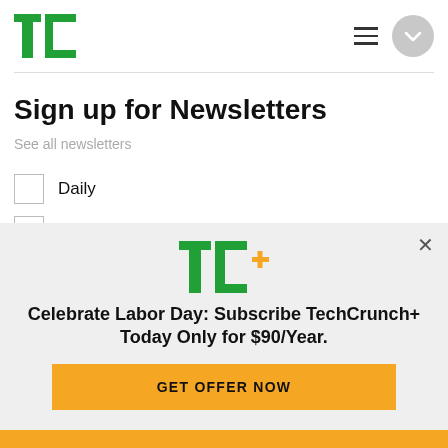TechCrunch
Sign up for Newsletters
See all newsletters
Daily
Week in Review
[Figure (infographic): TechCrunch+ promotional overlay banner with TC+ logo, headline 'Celebrate Labor Day: Subscribe TechCrunch+ Today Only for $90/Year.' and a GET OFFER NOW button in gold/yellow.]